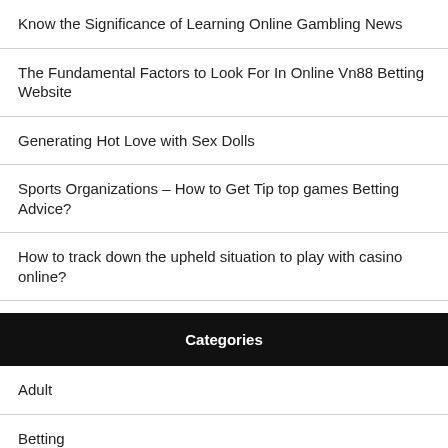Know the Significance of Learning Online Gambling News
The Fundamental Factors to Look For In Online Vn88 Betting Website
Generating Hot Love with Sex Dolls
Sports Organizations – How to Get Tip top games Betting Advice?
How to track down the upheld situation to play with casino online?
Categories
Adult
Betting
Casino
Dating